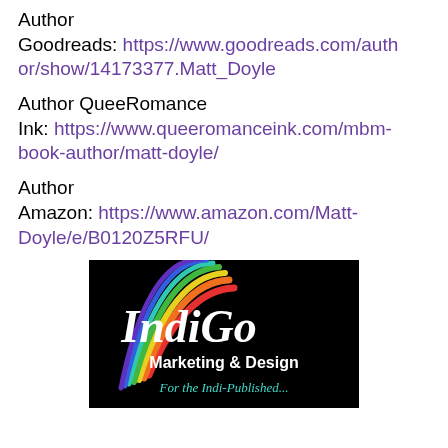Author
Goodreads: https://www.goodreads.com/author/show/14173377.Matt_Doyle
Author QueeRomance Ink: https://www.queeromanceink.com/mbm-book-author/matt-doyle/
Author
Amazon: https://www.amazon.com/Matt-Doyle/e/B0120Z5RFU/
[Figure (logo): IndiGo Marketing & Design logo - black background with rainbow arc graphic and white italic 'IndiGo' text, 'Marketing & Design' in white, 'For the Indi-Published...' in teal/cyan italic text]